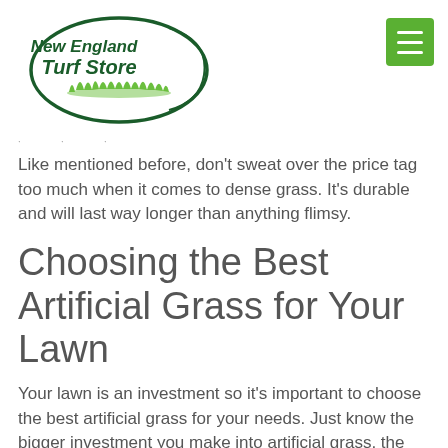[Figure (logo): New England Turf Store logo — dark green oval with grass silhouette and italic bold text 'New England Turf Store']
- . .
Like mentioned before, don't sweat over the price tag too much when it comes to dense grass. It's durable and will last way longer than anything flimsy.
Choosing the Best Artificial Grass for Your Lawn
Your lawn is an investment so it's important to choose the best artificial grass for your needs. Just know the bigger investment you make into artificial grass, the